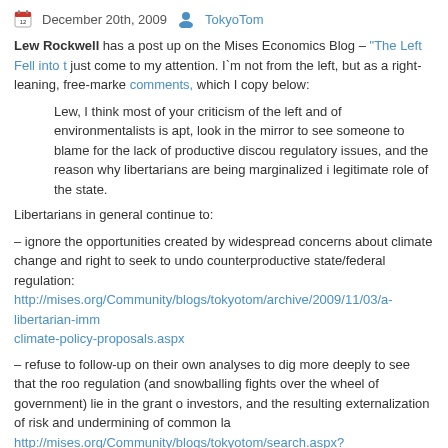December 20th, 2009   TokyoTom
Lew Rockwell has a post up on the Mises Economics Blog – "The Left Fell into t... just come to my attention. I'm not from the left, but as a right-leaning, free-marke... comments, which I copy below:
Lew, I think most of your criticism of the left and of environmentalists is apt, ... look in the mirror to see someone to blame for the lack of productive discou... regulatory issues, and the reason why libertarians are being marginalized i... legitimate role of the state.
Libertarians in general continue to:
– ignore the opportunities created by widespread concerns about climate change... and right to seek to undo counterproductive state/federal regulation: http://mises.org/Community/blogs/tokyotom/archive/2009/11/03/a-libertarian-imm... climate-policy-proposals.aspx
– refuse to follow-up on their own analyses to dig more deeply to see that the roc... regulation (and snowballing fights over the wheel of government) lie in the grant o... investors, and the resulting externalization of risk and undermining of common la... http://mises.org/Community/blogs/tokyotom/search.aspx?q=limited+liability
– as Ed Dolan suggested, continue to act as the "conservatives" that Hayek des... legitimacy of the favors provided to statist enterprises under the status quo, and t... that "libertarians" play in the gamesmanship such enterprises continue (such que... homs" except when addressed to alarmists, in whch case it is "cui bono"): http://mises.org/Community/blogs/tokyotom/archive/2008/02/13/edwin-dolan-app